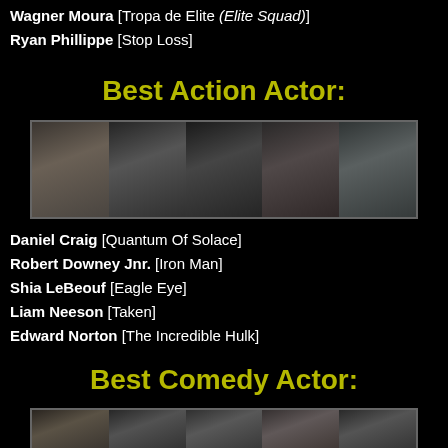Wagner Moura [Tropa de Elite (Elite Squad)]
Ryan Phillippe [Stop Loss]
Best Action Actor:
[Figure (photo): Strip of five action movie actor photos for Best Action Actor nominees]
Daniel Craig [Quantum Of Solace]
Robert Downey Jnr. [Iron Man]
Shia LeBeouf [Eagle Eye]
Liam Neeson [Taken]
Edward Norton [The Incredible Hulk]
Best Comedy Actor:
[Figure (photo): Strip of five comedy movie actor photos for Best Comedy Actor nominees]